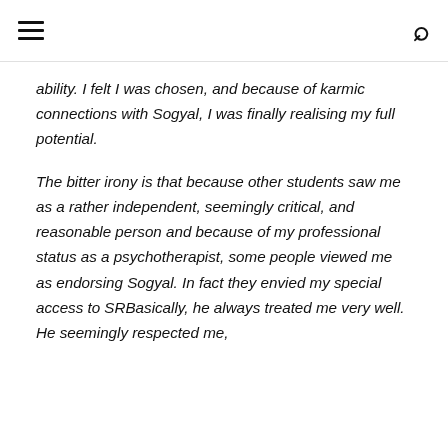[hamburger menu icon] [search icon]
ability. I felt I was chosen, and because of karmic connections with Sogyal, I was finally realising my full potential.
The bitter irony is that because other students saw me as a rather independent, seemingly critical, and reasonable person and because of my professional status as a psychotherapist, some people viewed me as endorsing Sogyal. In fact they envied my special access to SRBasically, he always treated me very well. He seemingly respected me,